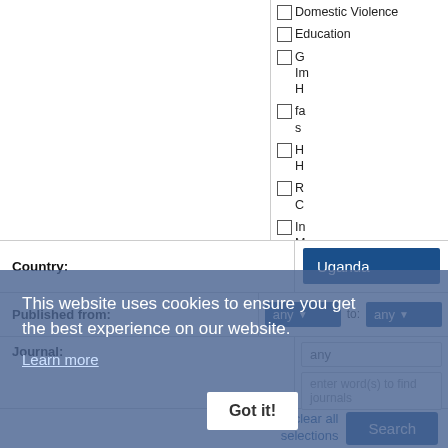☐ Domestic Violence
☐ Education
☐ G Im H
☐ fa s
☐ H H
☐ R C
☐ In M
Country:
Uganda
This website uses cookies to ensure you get the best experience on our website.
Learn more
Got it!
Published from:
any  to:  any
Journal:
any
enter word(s) to find journals
clear all selections
Search